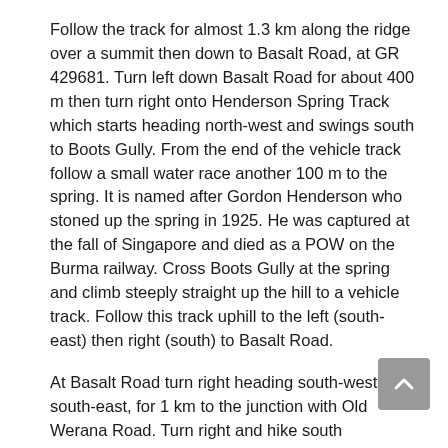Follow the track for almost 1.3 km along the ridge over a summit then down to Basalt Road, at GR 429681. Turn left down Basalt Road for about 400 m then turn right onto Henderson Spring Track which starts heading north-west and swings south to Boots Gully. From the end of the vehicle track follow a small water race another 100 m to the spring. It is named after Gordon Henderson who stoned up the spring in 1925. He was captured at the fall of Singapore and died as a POW on the Burma railway. Cross Boots Gully at the spring and climb steeply straight up the hill to a vehicle track. Follow this track uphill to the left (south-east) then right (south) to Basalt Road.
At Basalt Road turn right heading south-west, then south-east, for 1 km to the junction with Old Werana Road. Turn right and hike south